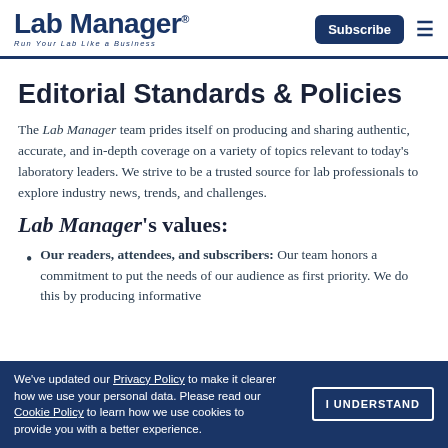Lab Manager® Run Your Lab Like a Business | Subscribe
Editorial Standards & Policies
The Lab Manager team prides itself on producing and sharing authentic, accurate, and in-depth coverage on a variety of topics relevant to today's laboratory leaders. We strive to be a trusted source for lab professionals to explore industry news, trends, and challenges.
Lab Manager's values:
Our readers, attendees, and subscribers: Our team honors a commitment to put the needs of our audience as first priority. We do this by producing informative
We've updated our Privacy Policy to make it clearer how we use your personal data. Please read our Cookie Policy to learn how we use cookies to provide you with a better experience.